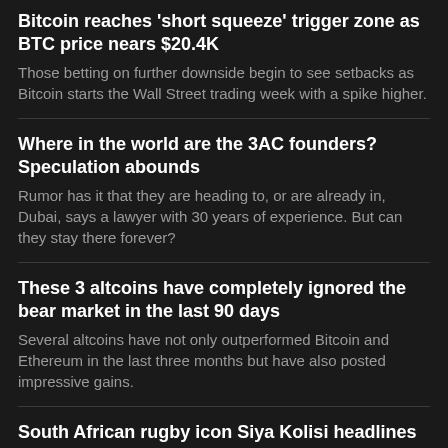Bitcoin reaches 'short squeeze' trigger zone as BTC price nears $20.4K
Those betting on further downside begin to see setbacks as Bitcoin starts the Wall Street trading week with a spike higher.
Where in the world are the 3AC founders? Speculation abounds
Rumor has it that they are heading to, or are already in, Dubai, says a lawyer with 30 years of experience. But can they stay there forever?
These 3 altcoins have completely ignored the bear market in the last 90 days
Several altcoins have not only outperformed Bitcoin and Ethereum in the last three months but have also posted impressive gains.
South African rugby icon Siya Kolisi headlines new